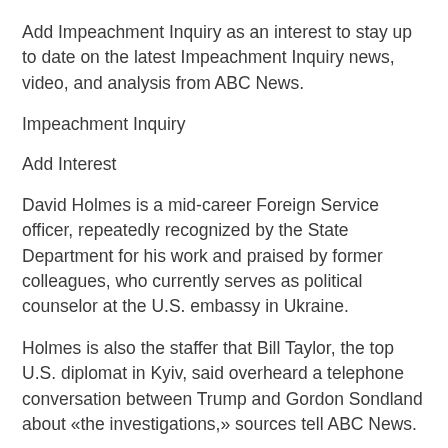Add Impeachment Inquiry as an interest to stay up to date on the latest Impeachment Inquiry news, video, and analysis from ABC News.
Impeachment Inquiry
Add Interest
David Holmes is a mid-career Foreign Service officer, repeatedly recognized by the State Department for his work and praised by former colleagues, who currently serves as political counselor at the U.S. embassy in Ukraine.
Holmes is also the staffer that Bill Taylor, the top U.S. diplomat in Kyiv, said overheard a telephone conversation between Trump and Gordon Sondland about «the investigations,» sources tell ABC News.